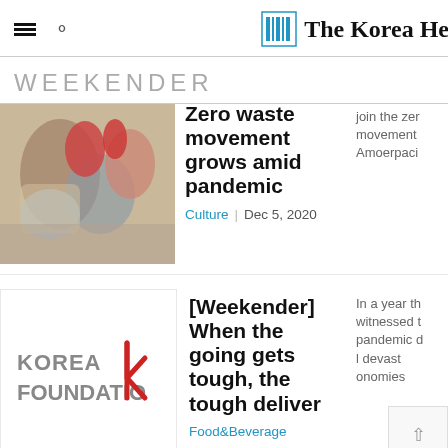The Korea He[rald]
WEEKENDER
[Figure (photo): Photo of fabric/cloth bags and vegetables, related to zero waste movement]
Zero waste movement grows amid pandemic
join the zero movement Amoerpaci
Culture | Dec 5, 2020
[Figure (logo): Korea Foundation logo with red checkmark-style K graphic]
[Weekender] When the going gets tough, the tough deliver
In a year th witnessed t pandemic d l devast onomies
Food&Beverage